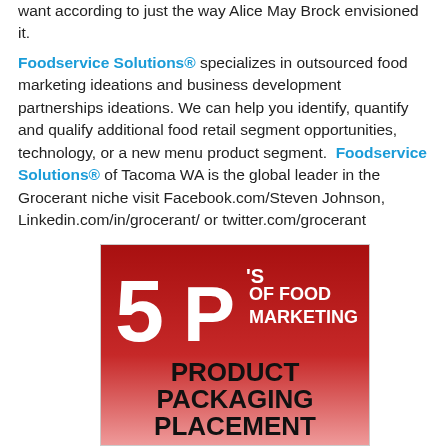want according to just the way Alice May Brock envisioned it.
Foodservice Solutions® specializes in outsourced food marketing ideations and business development partnerships ideations. We can help you identify, quantify and qualify additional food retail segment opportunities, technology, or a new menu product segment. Foodservice Solutions® of Tacoma WA is the global leader in the Grocerant niche visit Facebook.com/Steven Johnson, Linkedin.com/in/grocerant/ or twitter.com/grocerant
[Figure (infographic): Red gradient advertisement image showing '5P's OF FOOD MARKETING' with text listing PRODUCT, PACKAGING, PLACEMENT on a red to light-red gradient background]